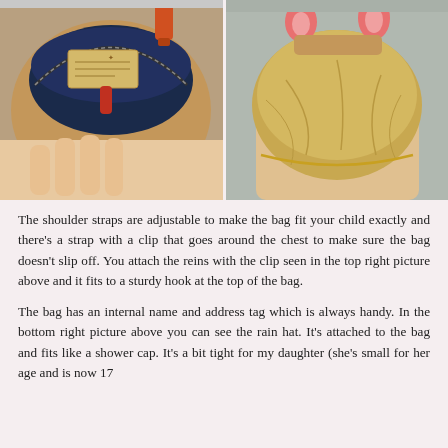[Figure (photo): Two photos side by side: left shows the inside of a tan animal-shaped backpack with a zipper open revealing a blue interior and a name/address tag, with a hand holding it; right shows the back of the bag with a gold/tan rain hat attached, with two pink ears visible at the top and a hand holding it.]
The shoulder straps are adjustable to make the bag fit your child exactly and there's a strap with a clip that goes around the chest to make sure the bag doesn't slip off. You attach the reins with the clip seen in the top right picture above and it fits to a sturdy hook at the top of the bag.
The bag has an internal name and address tag which is always handy. In the bottom right picture above you can see the rain hat. It's attached to the bag and fits like a shower cap. It's a bit tight for my daughter (she's small for her age and is now 17